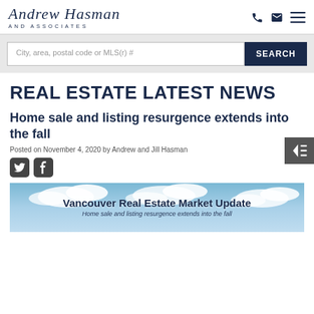Andrew Hasman AND ASSOCIATES
City, area, postal code or MLS(r) # SEARCH
REAL ESTATE LATEST NEWS
Home sale and listing resurgence extends into the fall
Posted on November 4, 2020 by Andrew and Jill Hasman
[Figure (photo): Vancouver Real Estate Market Update banner with cloudy sky background. Text reads: Vancouver Real Estate Market Update. Home sale and listing resurgence extends into the fall]